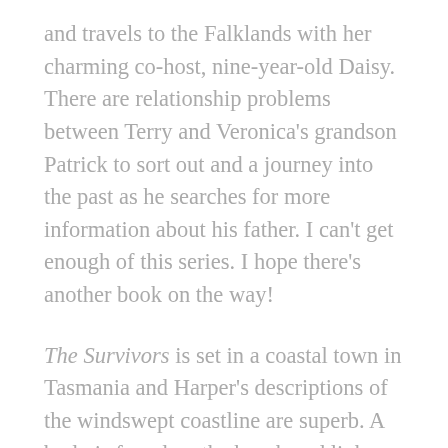and travels to the Falklands with her charming co-host, nine-year-old Daisy. There are relationship problems between Terry and Veronica's grandson Patrick to sort out and a journey into the past as he searches for more information about his father. I can't get enough of this series. I hope there's another book on the way!
The Survivors is set in a coastal town in Tasmania and Harper's descriptions of the windswept coastline are superb. A body is found on the beach and links are soon drawn to a teenaged girl who went missing years ago. Everyone in the town has something to hide, including Keiran who has recently returned to help his parents move house. This is a classic whodunnit, but while I enjoyed the mystery, it was the setting that really made this book for me.